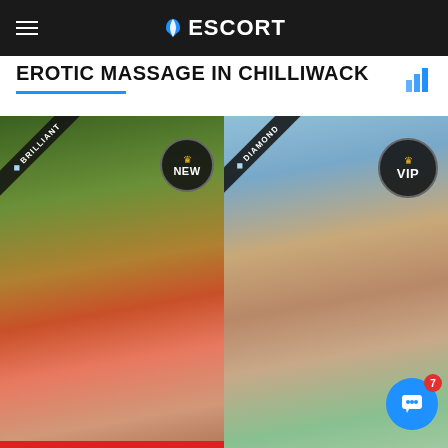ESCORT
EROTIC MASSAGE IN CHILLIWACK
[Figure (photo): Blonde woman in red swimsuit with BRILLIANT badge and NEW circle badge]
[Figure (photo): Brunette woman with DIAMOND badge and VIP circle badge]